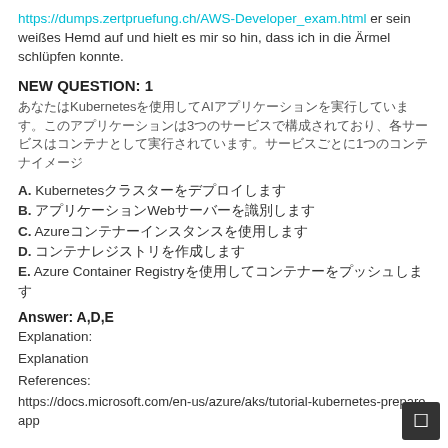https://dumps.zertpruefung.ch/AWS-Developer_exam.html er sein weißes Hemd auf und hielt es mir so hin, dass ich in die Ärmel schlüpfen konnte.
NEW QUESTION: 1
あなたはKubernetesを使用してAIアプリケーションを実行しています。このアプリケーションは3つのサービスで構成されており、各サービスはコンテナとして実行されています。サービスごとに1つのコンテナイメージ
A. Kubernetesクラスターをデプロイします
B. アプリケーションWebサーバーを識別します
C. Azureコンテナーインスタンスを使用します
D. コンテナレジストリを作成します
E. Azure Container Registryを使用してコンテナーをプッシュします
Answer: A,D,E
Explanation:
Explanation
References:
https://docs.microsoft.com/en-us/azure/aks/tutorial-kubernetes-prepare-app